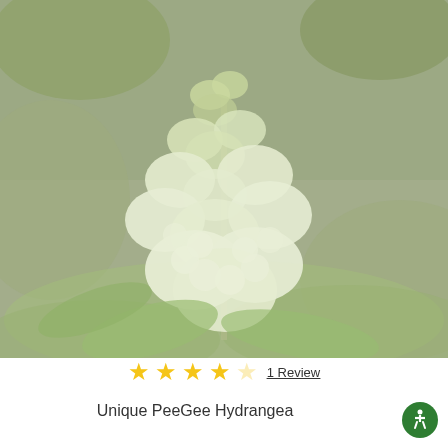[Figure (photo): Photograph of a Pee Gee Hydrangea plant with white conical flower clusters and green leaves, faded/washed-out appearance with greenish-white overlay]
★★★★☆ 1 Review
Unique PeeGee Hydrangea